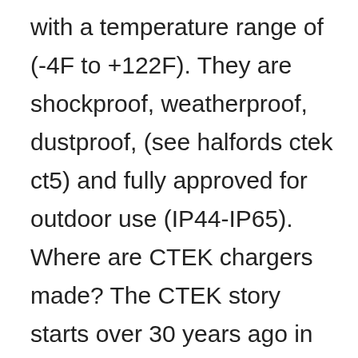with a temperature range of (-4F to +122F). They are shockproof, weatherproof, dustproof, (see halfords ctek ct5) and fully approved for outdoor use (IP44-IP65). Where are CTEK chargers made? The CTEK story starts over 30 years ago in Vikmanshyttan, a small village in Dalarna in Sweden. This is where the CTEK founder, Swedish inventor Bengt